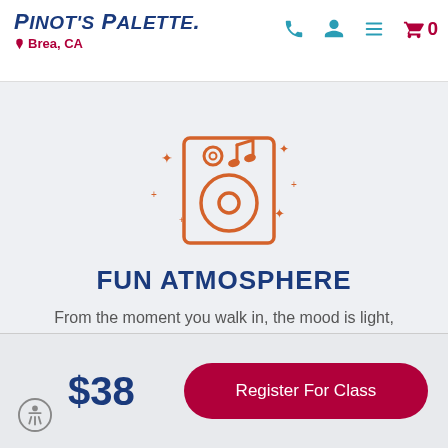PINOT'S PALETTE — Brea, CA
[Figure (illustration): Orange line-art icon of a speaker/music box with musical note and sparkle stars on a light gray background]
FUN ATMOSPHERE
From the moment you walk in, the mood is light, the music is fun and the conversation comes easy!
$38
Register For Class